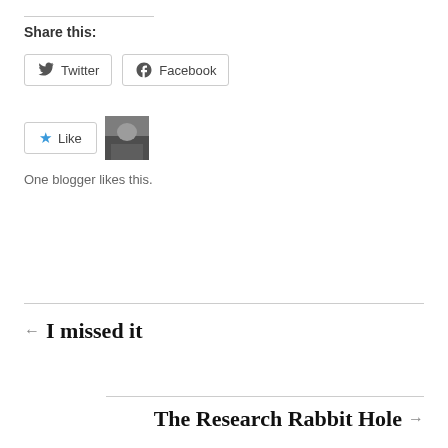Share this:
[Figure (screenshot): Twitter share button with Twitter bird icon]
[Figure (screenshot): Facebook share button with Facebook logo icon]
[Figure (screenshot): Like button with blue star icon]
[Figure (photo): Small grayscale thumbnail photo of a blogger]
One blogger likes this.
← I missed it
The Research Rabbit Hole →